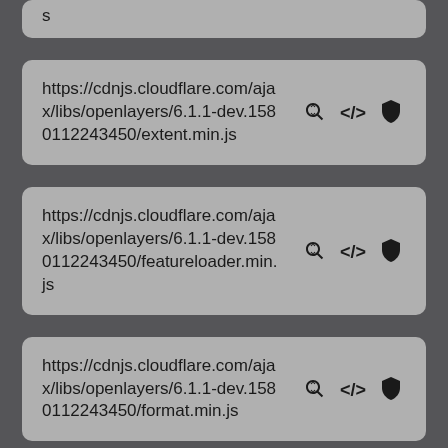s
https://cdnjs.cloudflare.com/ajax/libs/openlayers/6.1.1-dev.1580112243450/extent.min.js
https://cdnjs.cloudflare.com/ajax/libs/openlayers/6.1.1-dev.1580112243450/featureloader.min.js
https://cdnjs.cloudflare.com/ajax/libs/openlayers/6.1.1-dev.1580112243450/format.min.js